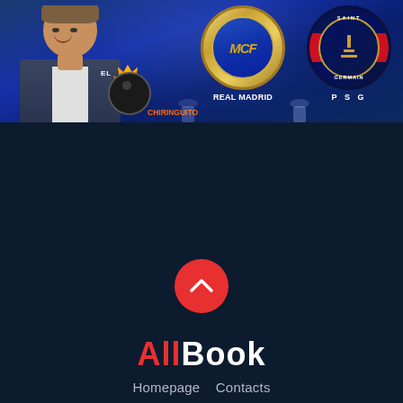[Figure (screenshot): El Chiringuito TV thumbnail showing Real Madrid vs PSG Champions League match. Left side shows a male TV presenter in a suit. Center shows the Real Madrid badge (gold and blue circular crest with 'MCF' letters). Right shows the PSG (Paris Saint-Germain) badge (dark blue circular crest with Eiffel Tower). Text labels read 'REAL MADRID' and 'P S G'. The El Chiringuito logo (soccer ball with flame) appears at bottom left.]
[Figure (other): Red circular scroll-to-top button with a white upward chevron arrow, centered on a dark navy background]
AllBook
Homepage   Contacts